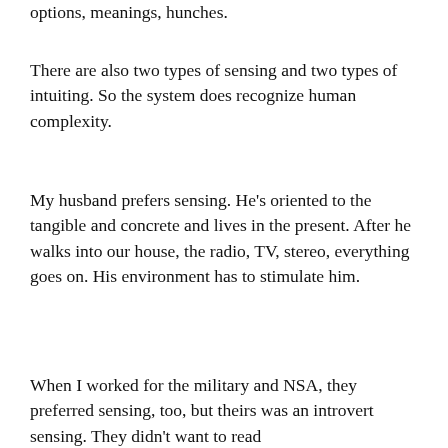options, meanings, hunches.
There are also two types of sensing and two types of intuiting. So the system does recognize human complexity.
My husband prefers sensing. He's oriented to the tangible and concrete and lives in the present. After he walks into our house, the radio, TV, stereo, everything goes on. His environment has to stimulate him.
When I worked for the military and NSA, they preferred sensing, too, but theirs was an introvert sensing. They didn't want to read between the lines.